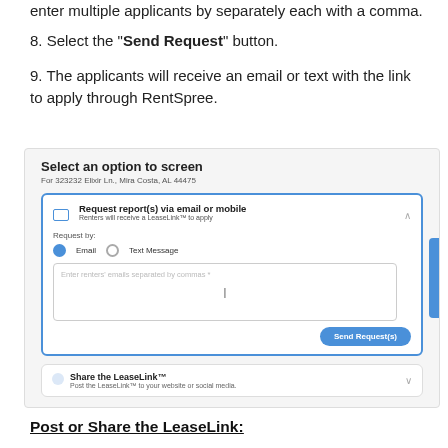enter multiple applicants by separately each with a comma.
8. Select the "Send Request" button.
9. The applicants will receive an email or text with the link to apply through RentSpree.
[Figure (screenshot): Screenshot of RentSpree 'Select an option to screen' dialog showing address '323232 Elixir Ln., Mira Costa, AL 44475', with 'Request report(s) via email or mobile' option expanded. Shows email/text radio buttons, an empty email input field with cursor, a 'Send Request(s)' blue button, and a collapsed 'Share the LeaseLink' option.]
Post or Share the LeaseLink:
1. If you would like to post or share the LeaseLink, such as to your rental listing ad, then select the "Share the LeaseLink" section.
2. Click the "Copy" button.